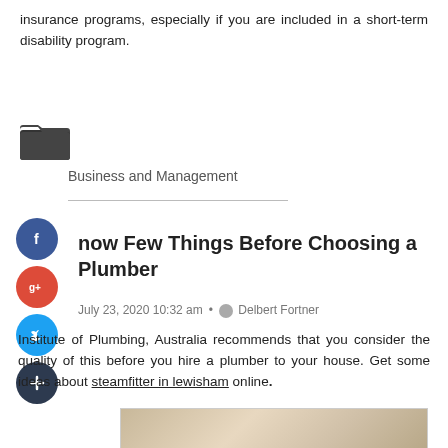insurance programs, especially if you are included in a short-term disability program.
[Figure (illustration): Folder icon (open folder, dark gray)]
Business and Management
[Figure (illustration): Social media share icons: Facebook (blue circle with f), Google+ (red circle with g+), Twitter (blue circle with bird), Add/Plus (dark circle with +)]
now Few Things Before Choosing a Plumber
July 23, 2020 10:32 am  Delbert Fortner
Institute of Plumbing, Australia recommends that you consider the quality of this before you hire a plumber to your house. Get some ideas about steamfitter in lewisham online.
[Figure (photo): Partial thumbnail image at bottom of page showing people, partially cropped]